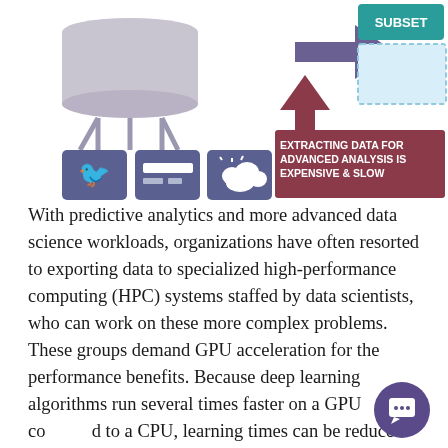[Figure (infographic): Partial infographic showing a database/cylinder icon with social media icons (Twitter, credit card, weather) below it, arrows pointing right and up, a dark red/maroon box with text 'EXTRACTING DATA FOR ADVANCED ANALYSIS IS EXPENSIVE & SLOW', and a teal 'SUBSET' button at top right with a light blue dashed rectangle.]
With predictive analytics and more advanced data science workloads, organizations have often resorted to exporting data to specialized high-performance computing (HPC) systems staffed by data scientists, who can work on these more complex problems. These groups demand GPU acceleration for the performance benefits. Because deep learning algorithms run several times faster on a GPU compared to a CPU, learning times can be reduced from weeks to hours, or from hours to minutes. This performance